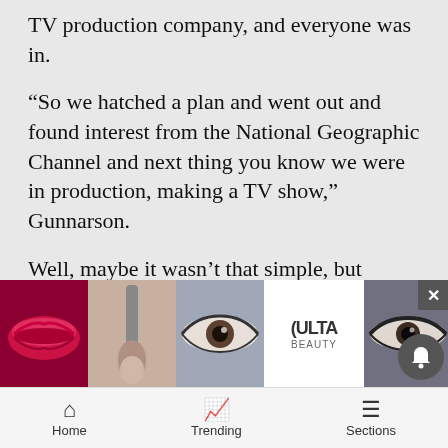TV production company, and everyone was in.
“So we hatched a plan and went out and found interest from the National Geographic Channel and next thing you know we were in production, making a TV show,” Gunnarson.
Well, maybe it wasn’t that simple, but neither is park building. And now, almost four years after the idea was hatched, the public is about to find out.
“There were a lot of different times when it looked like this whole thing wasn’t going to happen,” Gunnarson said.
Some days were better. Some were worse, like when a big wa… collaps…
[Figure (screenshot): Ulta Beauty advertisement banner with makeup product images and SHOP NOW button]
[Figure (screenshot): Mobile navigation bar with Home, Trending, and Sections icons]